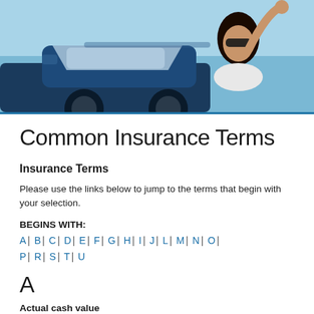[Figure (photo): Woman in sunglasses smiling in a convertible car, blue sky background]
Common Insurance Terms
Insurance Terms
Please use the links below to jump to the terms that begin with your selection.
BEGINS WITH:
A | B | C | D | E | F | G | H | I | J | L | M | N | O | P | R | S | T | U
A
Actual cash value
The present-day value of property measured in cash, arrived at by taking the replacement cost and deducting for depreciation